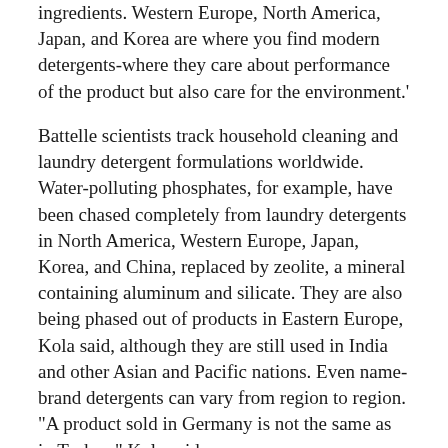ingredients. Western Europe, North America, Japan, and Korea are where you find modern detergents-where they care about performance of the product but also care for the environment.
Battelle scientists track household cleaning and laundry detergent formulations worldwide. Water-polluting phosphates, for example, have been chased completely from laundry detergents in North America, Western Europe, Japan, Korea, and China, replaced by zeolite, a mineral containing aluminum and silicate. They are also being phased out of products in Eastern Europe, Kola said, although they are still used in India and other Asian and Pacific nations. Even name-brand detergents can vary from region to region. "A product sold in Germany is not the same as in Turkey," Kola said.
A BRIEF HISTORY OF DETERGENTS
Detergents actually have a history as long as that of civilization. One of the first things people wanted after they set up house was, apparently, clean clothes...